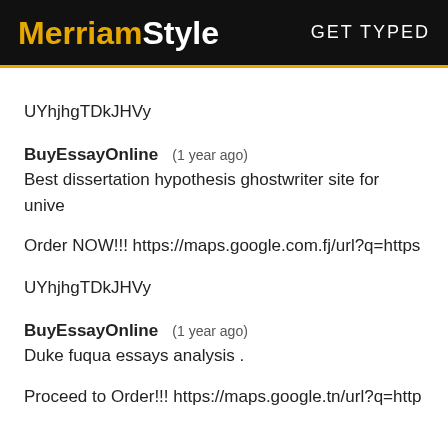MerriamStyle  GET TYPED
UYhjhgTDkJHVy
BuyEssayOnline  (1 year ago)
Best dissertation hypothesis ghostwriter site for unive
Order NOW!!! https://maps.google.com.fj/url?q=https
UYhjhgTDkJHVy
BuyEssayOnline  (1 year ago)
Duke fuqua essays analysis .
Proceed to Order!!! https://maps.google.tn/url?q=http